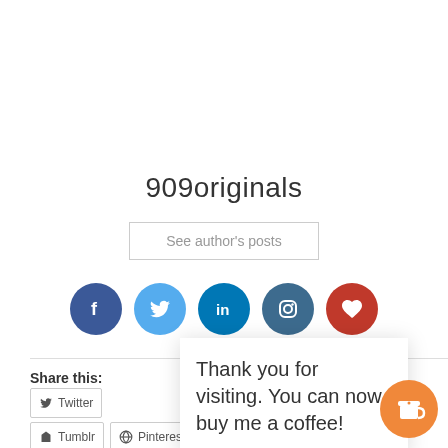909originals
See author's posts
[Figure (infographic): Row of 5 social media icon circles: Facebook (dark blue), Twitter (light blue), LinkedIn (medium blue), Instagram (teal-grey), Kickstarter/heart (red)]
Share this:
Twitter
Tumblr
Pinterest
WhatsApp
Email
Thank you for visiting. You can now buy me a coffee!
[Figure (illustration): Orange circular coffee cup button widget in bottom right corner]